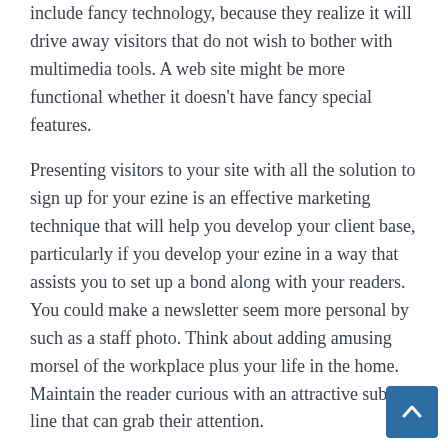include fancy technology, because they realize it will drive away visitors that do not wish to bother with multimedia tools. A web site might be more functional whether it doesn't have fancy special features.
Presenting visitors to your site with all the solution to sign up for your ezine is an effective marketing technique that will help you develop your client base, particularly if you develop your ezine in a way that assists you to set up a bond along with your readers. You could make a newsletter seem more personal by such as a staff photo. Think about adding amusing morsel of the workplace plus your life in the home. Maintain the reader curious with an attractive subject line that can grab their attention.
Luckily, there is a lot of real information that will help you with Web marketing. It's not essential to overstudy